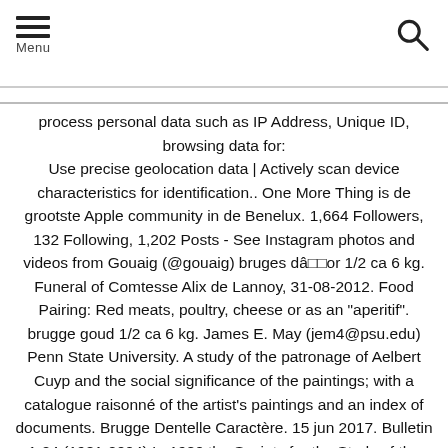Menu
process personal data such as IP Address, Unique ID, browsing data for: Use precise geolocation data | Actively scan device characteristics for identification.. One More Thing is de grootste Apple community in de Benelux. 1,664 Followers, 132 Following, 1,202 Posts - See Instagram photos and videos from Gouaig (@gouaig) bruges dâ□□or 1/2 ca 6 kg. Funeral of Comtesse Alix de Lannoy, 31-08-2012. Food Pairing: Red meats, poultry, cheese or as an "aperitif". brugge goud 1/2 ca 6 kg. James E. May (jem4@psu.edu) Penn State University. A study of the patronage of Aelbert Cuyp and the social significance of the paintings; with a catalogue raisonné of the artist's paintings and an index of documents. Brugge Dentelle Caractère. 15 jun 2017. Bulletin 1-24 (1981-2004) In 1980 the Society for the Study of the Crusades and the Latin East started its Bulletin which reports the publications, lectures and other actvities of â□¦ Passendale Aparthotels, Brugge Rain Classic